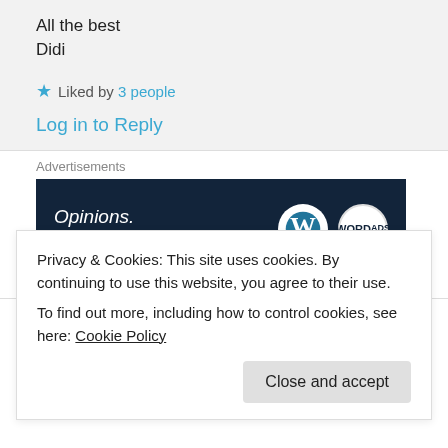All the best
Didi
Liked by 3 people
Log in to Reply
[Figure (other): WordPress advertisement banner: 'Opinions. We all have them!' with WordPress and WordPress.com logos on dark navy background]
madthemind on 08/05/2017 at 17:51
Privacy & Cookies: This site uses cookies. By continuing to use this website, you agree to their use.
To find out more, including how to control cookies, see here: Cookie Policy